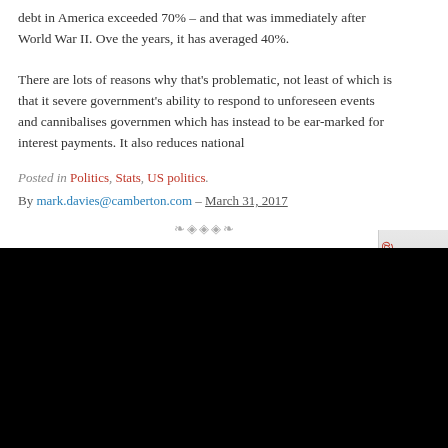debt in America exceeded 70% – and that was immediately after World War II. Over the years, it has averaged 40%.
There are lots of reasons why that's problematic, not least of which is that it severely limits government's ability to respond to unforeseen events and cannibalises government spending which has instead to be ear-marked for interest payments. It also reduces national
Posted in Politics, Stats, US politics.
By mark.davies@camberton.com – March 31, 2017
[Figure (illustration): Decorative divider with ornamental swirl design]
Matt Ridley nails it
[Figure (screenshot): Black video embed area]
[Figure (logo): Retweet@forums sidebar logo with Twitter bird mascot holding a flag]